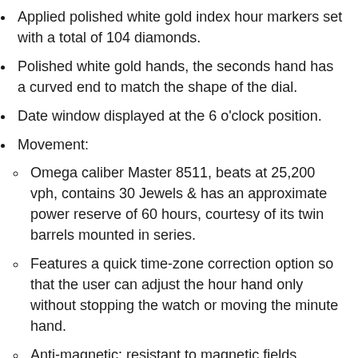Applied polished white gold index hour markers set with a total of 104 diamonds.
Polished white gold hands, the seconds hand has a curved end to match the shape of the dial.
Date window displayed at the 6 o'clock position.
Movement:
Omega caliber Master 8511, beats at 25,200 vph, contains 30 Jewels & has an approximate power reserve of 60 hours, courtesy of its twin barrels mounted in series.
Features a quick time-zone correction option so that the user can adjust the hour hand only without stopping the watch or moving the minute hand.
Anti-magnetic: resistant to magnetic fields greater than 15,000 gauss.
The movement features Omega's "Si14"